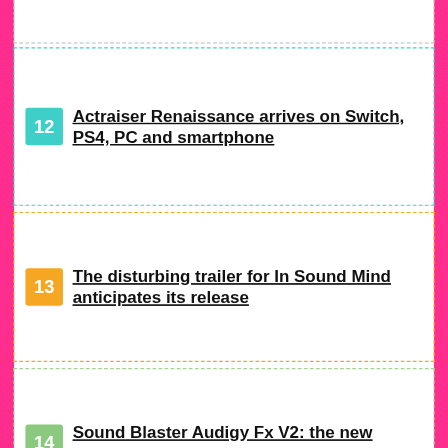12 Actraiser Renaissance arrives on Switch, PS4, PC and smartphone
13 The disturbing trailer for In Sound Mind anticipates its release
14 Sound Blaster Audigy Fx V2: the new sound card is official
15 New HomePod with S8 processor and better sound for 2023